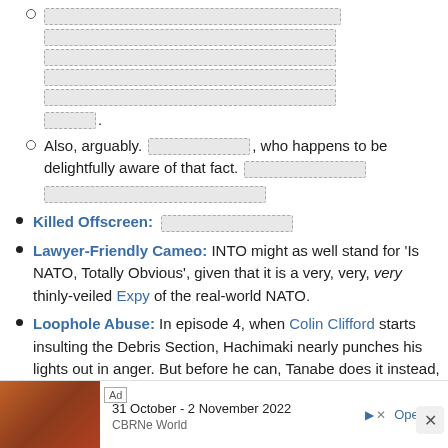[redacted content with multiple redacted lines]
Also, arguably. [redacted], who happens to be delightfully aware of that fact. [redacted] [redacted]
Killed Offscreen: [redacted]
Lawyer-Friendly Cameo: INTO might as well stand for 'Is NATO, Totally Obvious', given that it is a very, very, very thinly-veiled Expy of the real-world NATO.
Loophole Abuse: In episode 4, when Colin Clifford starts insulting the Debris Section, Hachimaki nearly punches his lights out in anger. But before he can, Tanabe does it instead, then berates him for being such a jerk. Colin
[Figure (screenshot): Advertisement banner at bottom: 'Ad' label, image of conference room, text '31 October - 2 November 2022', 'CBRNe World', 'Open' button, and close X button]